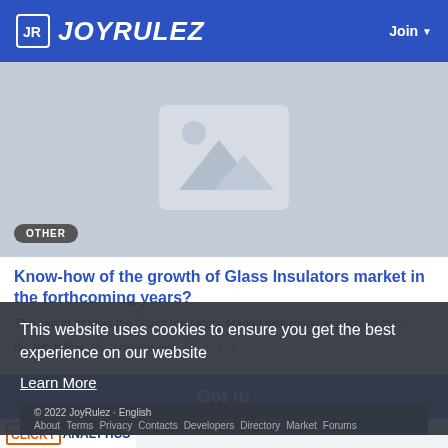JOYRULEZ  Join
[Figure (illustration): Placeholder image with mountain/image icon graphic in light blue-gray, with OTHER badge overlay]
Know-how of the growth of Glass Insulators market in the forthcoming years?
This report studies the Glass Insulators Market with many aspects of the...
By Nitsh Roy  3 months ago  0  8
This website uses cookies to ensure you get the best experience on our website
Learn More
© 2022 JoyRulez · English
About  Terms  Privacy  Contacts  Developers  Directory  Market  Forums
Got It!